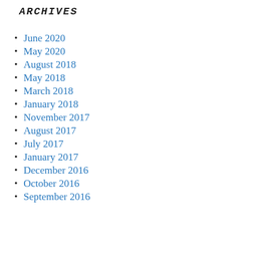ARCHIVES
June 2020
May 2020
August 2018
May 2018
March 2018
January 2018
November 2017
August 2017
July 2017
January 2017
December 2016
October 2016
September 2016